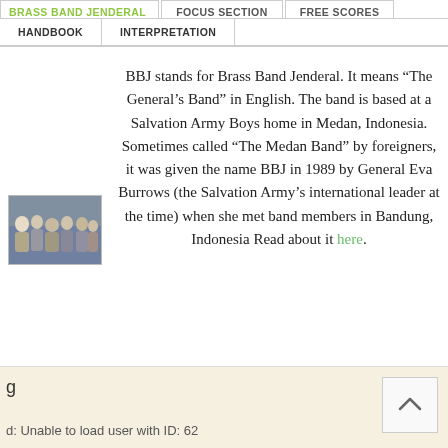BRASS BAND JENDERAL | FOCUS SECTION | FREE SCORES | HANDBOOK | INTERPRETATION
[Figure (photo): Small thumbnail photo showing a group of people, likely band members, posed together.]
BBJ stands for Brass Band Jenderal. It means “The General’s Band” in English. The band is based at a Salvation Army Boys home in Medan, Indonesia. Sometimes called “The Medan Band” by foreigners, it was given the name BBJ in 1989 by General Eva Burrows (the Salvation Army’s international leader at the time) when she met band members in Bandung, Indonesia Read about it here.
g
d: Unable to load user with ID: 62